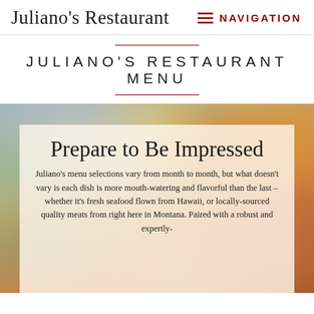Juliano's Restaurant | NAVIGATION
JULIANO'S RESTAURANT MENU
[Figure (photo): Blurred food photo showing colorful dishes with vegetables and meats, serving as a decorative background image]
Prepare to Be Impressed
Juliano's menu selections vary from month to month, but what doesn't vary is each dish is more mouth-watering and flavorful than the last – whether it's fresh seafood flown from Hawaii, or locally-sourced quality meats from right here in Montana. Paired with a robust and expertly-